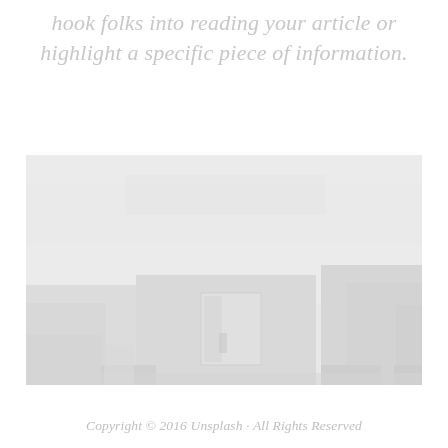hook folks into reading your article or highlight a specific piece of information.
[Figure (photo): A very faint, washed-out photograph of white minimalist buildings or architectural structures in a hazy, foggy environment. The image is extremely light with low contrast, showing geometric shapes of white walls and a window with curtains.]
Copyright © 2016 Unsplash · All Rights Reserved